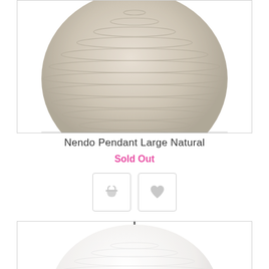[Figure (photo): Beige/natural textured paper lantern pendant lamp, spherical shape with horizontal ribbing, shown cropped at bottom, white background]
Nendo Pendant Large Natural
Sold Out
[Figure (illustration): Two square icon buttons with rounded corners: left button shows a shopping cart/basket icon in light gray, right button shows a heart/wishlist icon in light gray]
[Figure (photo): White paper lantern pendant lamp, spherical dome shape, hanging from a thin black cord with small black fitting at top, white background]